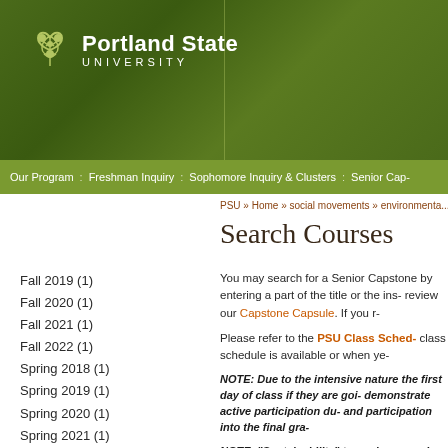[Figure (logo): Portland State University logo with green vine/clover icon and white text on dark green background]
Our Program : Freshman Inquiry : Sophomore Inquiry & Clusters : Senior Cap-
PSU » Home » social movements » environmenta-
Search Courses
Fall 2019 (1)
Fall 2020 (1)
Fall 2021 (1)
Fall 2022 (1)
Spring 2018 (1)
Spring 2019 (1)
Spring 2020 (1)
Spring 2021 (1)
Spring 2022 (1)
Summer 2018 (1)
Summer 2019 (1)
Summer 2020 (1)
Summer 2021 (1)
You may search for a Senior Capstone by entering a part of the title or the instructor's name, or review our Capstone Capsule. If you r-
Please refer to the PSU Class Schedule class schedule is available or when ye-
NOTE:  Due to the intensive nature of the first day of class if they are going to demonstrate active participation during and participation into the final grade-
NOTE:  "Sustainability" tagged courses seek approval from Joseph Maser,